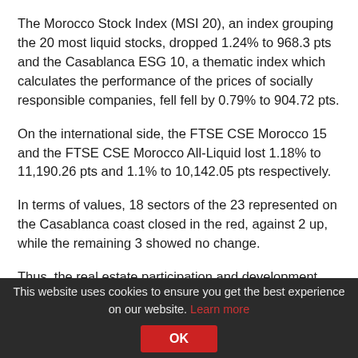The Morocco Stock Index (MSI 20), an index grouping the 20 most liquid stocks, dropped 1.24% to 968.3 pts and the Casablanca ESG 10, a thematic index which calculates the performance of the prices of socially responsible companies, fell fell by 0.79% to 904.72 pts.
On the international side, the FTSE CSE Morocco 15 and the FTSE CSE Morocco All-Liquid lost 1.18% to 11,190.26 pts and 1.1% to 10,142.05 pts respectively.
In terms of values, 18 sectors of the 23 represented on the Casablanca coast closed in the red, against 2 up, while the remaining 3 showed no change.
Thus, the real estate participation and development index showed the largest drop (-4.89%), weighed down by
This website uses cookies to ensure you get the best experience on our website. Learn more  OK